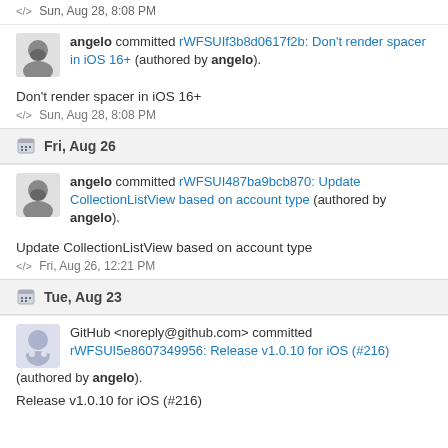</> Sun, Aug 28, 8:08 PM
angelo committed rWFSUIf3b8d0617f2b: Don't render spacer in iOS 16+ (authored by angelo).
Don't render spacer in iOS 16+
</> Sun, Aug 28, 8:08 PM
Fri, Aug 26
angelo committed rWFSUI487ba9bcb870: Update CollectionListView based on account type (authored by angelo).
Update CollectionListView based on account type
</> Fri, Aug 26, 12:21 PM
Tue, Aug 23
GitHub <noreply@github.com> committed rWFSUI5e8607349956: Release v1.0.10 for iOS (#216) (authored by angelo).
Release v1.0.10 for iOS (#216)